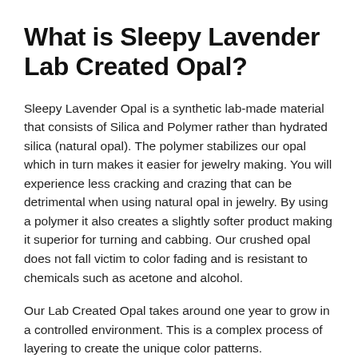What is Sleepy Lavender Lab Created Opal?
Sleepy Lavender Opal is a synthetic lab-made material that consists of Silica and Polymer rather than hydrated silica (natural opal). The polymer stabilizes our opal which in turn makes it easier for jewelry making. You will experience less cracking and crazing that can be detrimental when using natural opal in jewelry. By using a polymer it also creates a slightly softer product making it superior for turning and cabbing. Our crushed opal does not fall victim to color fading and is resistant to chemicals such as acetone and alcohol.
Our Lab Created Opal takes around one year to grow in a controlled environment. This is a complex process of layering to create the unique color patterns.
This complex process is used to then create a rough cut of